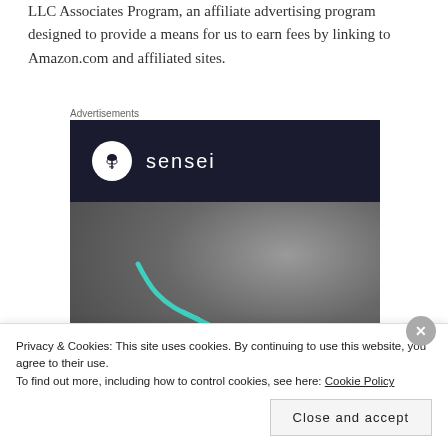LLC Associates Program, an affiliate advertising program designed to provide a means for us to earn fees by linking to Amazon.com and affiliated sites.
Advertisements
[Figure (logo): Sensei advertisement banner with dark navy top section showing the Sensei logo (bonsai tree in white circle) and brand name, and a lower grey section showing an anatomical/medical image with teal arrow.]
Privacy & Cookies: This site uses cookies. By continuing to use this website, you agree to their use.
To find out more, including how to control cookies, see here: Cookie Policy
Close and accept